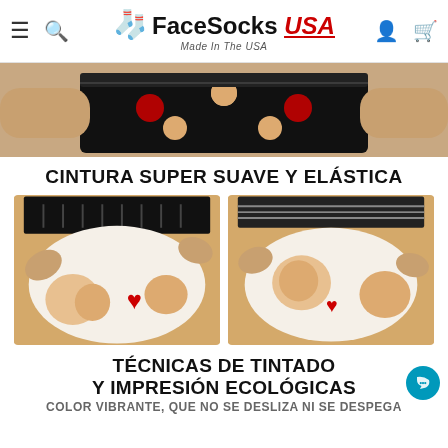FaceSocks USA — Made In The USA
[Figure (photo): Person holding black boxer briefs with face prints and red hearts pattern]
CINTURA SUPER SUAVE Y ELÁSTICA
[Figure (photo): Two close-up photos of hands stretching white and black custom printed underwear waistband showing elastic. Left image: black waistband with face/heart print fabric being stretched on orange background. Right image: white waistband with face print fabric being stretched on orange background.]
TÉCNICAS DE TINTADO Y IMPRESIÓN ECOLÓGICAS
COLOR VIBRANTE, QUE NO SE DESLIZA NI SE DESPEGA